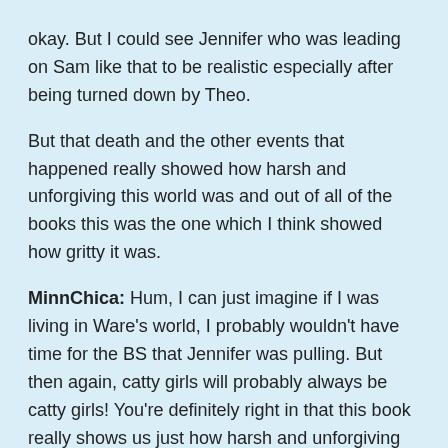okay. But I could see Jennifer who was leading on Sam like that to be realistic especially after being turned down by Theo.
But that death and the other events that happened really showed how harsh and unforgiving this world was and out of all of the books this was the one which I think showed how gritty it was.
MinnChica: Hum, I can just imagine if I was living in Ware's world, I probably wouldn't have time for the BS that Jennifer was pulling. But then again, catty girls will probably always be catty girls! You're definitely right in that this book really shows us just how harsh and unforgiving Ware's